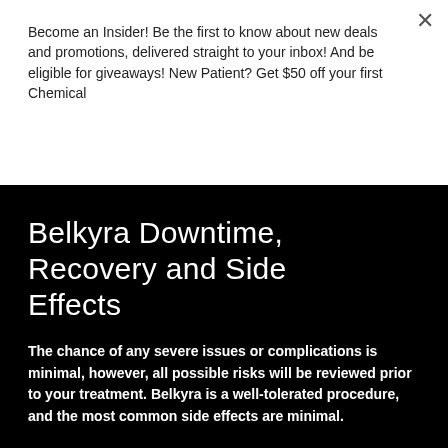Become an Insider! Be the first to know about new deals and promotions, delivered straight to your inbox! And be eligible for giveaways! New Patient? Get $50 off your first Chemical
Subscribe
Belkyra Downtime, Recovery and Side Effects
The chance of any severe issues or complications is minimal, however, all possible risks will be reviewed prior to your treatment. Belkyra is a well-tolerated procedure, and the most common side effects are minimal.